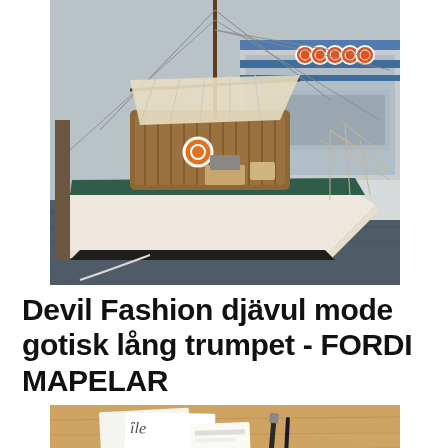[Figure (photo): A vintage wooden sailboat with white hull moored at a harbor dock. Orange life preserver ring visible on deck. Other boats and life rings visible in background. Water reflects the vessels. Warm vintage-toned photograph.]
Devil Fashion djävul mode gotisk lång trumpet - FORDI MAPELAR
[Figure (photo): Partial view of a flat lay scene on a wooden surface with papers and writing implements, cropped at bottom of page.]